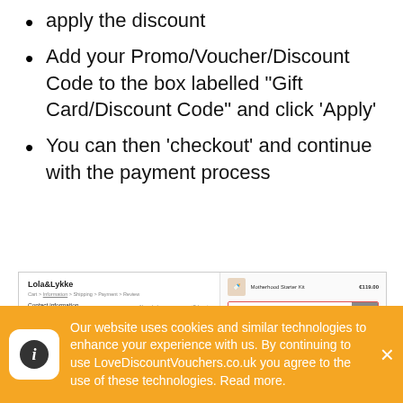apply the discount
Add your Promo/Voucher/Discount Code to the box labelled “Gift Card/Discount Code” and click ‘Apply’
You can then ‘checkout’ and continue with the payment process
[Figure (screenshot): Screenshot of Lola&Lykke checkout page showing contact information form on the left and order summary with gift card/discount code input box highlighted in red on the right, showing total of €139.00]
Our website uses cookies and similar technologies to enhance your experience with us. By continuing to use LoveDiscountVouchers.co.uk you agree to the use of these technologies. Read more.